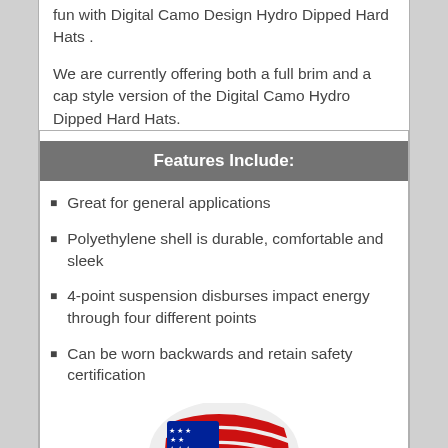fun with Digital Camo Design Hydro Dipped Hard Hats .
We are currently offering both a full brim and a cap style version of the Digital Camo Hydro Dipped Hard Hats.
Features Include:
Great for general applications
Polyethylene shell is durable, comfortable and sleek
4-point suspension disburses impact energy through four different points
Can be worn backwards and retain safety certification
[Figure (logo): Made in USA logo with American flag design — red, white and blue flag wrapped around a hand/fist shape, with 'Made in' text in blue below]